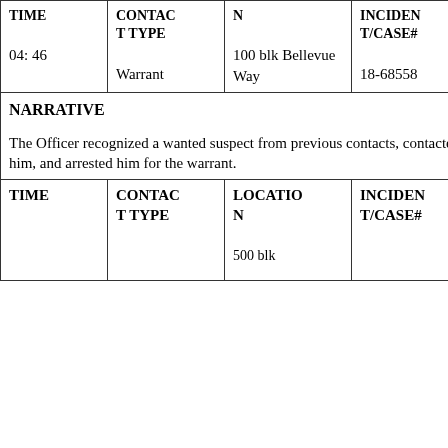| TIME | CONTACT TYPE | LOCATION | INCIDENT/CASE# |
| --- | --- | --- | --- |
| 04: 46 | Warrant | 100 blk Bellevue Way | 18-68558 |
NARRATIVE

The Officer recognized a wanted suspect from previous contacts, contacted him, and arrested him for the warrant.
| TIME | CONTACT TYPE | LOCATION | INCIDENT/CASE# |
| --- | --- | --- | --- |
|  |  | 500 blk |  |